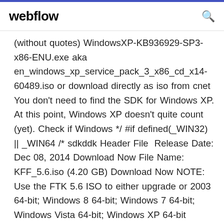webflow
(without quotes) WindowsXP-KB936929-SP3-x86-ENU.exe aka en_windows_xp_service_pack_3_x86_cd_x14-60489.iso or download directly as iso from cnet You don't need to find the SDK for Windows XP. At this point, Windows XP doesn't quite count (yet). Check if Windows */ #if defined(_WIN32) || _WIN64 /* sdkddk Header File  Release Date: Dec 08, 2014 Download Now File Name: KFF_5.6.iso (4.20 GB) Download Now NOTE: Use the FTK 5.6 ISO to either upgrade or 2003 64-bit; Windows 8 64-bit; Windows 7 64-bit; Windows Vista 64-bit; Windows XP 64-bit Télécharger les ISO de Windows XP – Le Crabe